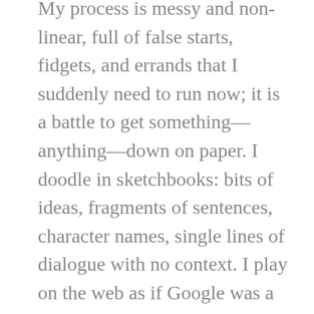My process is messy and non-linear, full of false starts, fidgets, and errands that I suddenly need to run now; it is a battle to get something—anything—down on paper. I doodle in sketchbooks: bits of ideas, fragments of sentences, character names, single lines of dialogue with no context. I play on the web as if Google was a pinball machine, caroming and bouncing from link to link to tangent, making notes about odd factoids that catch my eye.

Writers are magpies. Ooh! Shiny! Some of those shinies are distractions, but others are just the right size or shape for me to add to the jumble of flotsam and fragments that I am slowly building into a mental nest where I will—I hope—hatch a story. I